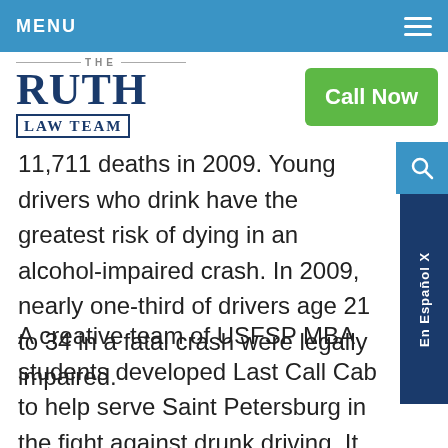MENU
[Figure (logo): The Ruth Law Team logo with navy blue serif text and a green 'Call Now' button]
11,711 deaths in 2009. Young drivers who drink have the greatest risk of dying in an alcohol-impaired crash. In 2009, nearly one-third of drivers age 21 to 34 in a fatal crash were legally impaired.
A creative team of USFSP MBA students developed Last Call Cab to help serve Saint Petersburg in the fight against drunk driving. It will provide low-cost rides to individuals who've